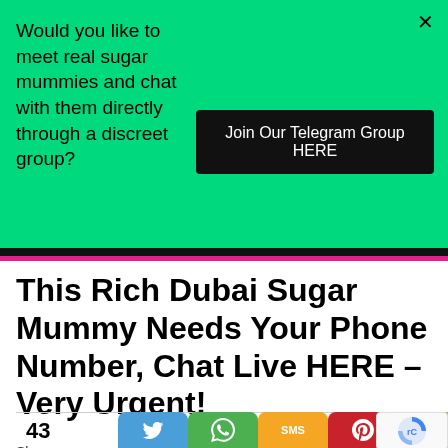[Figure (other): Green advertisement banner with text and button]
Would you like to meet real sugar mummies and chat with them directly through a discreet group?
Join Our Telegram Group HERE
This Rich Dubai Sugar Mummy Needs Your Phone Number, Chat Live HERE – Very Urgent!
43 Shares